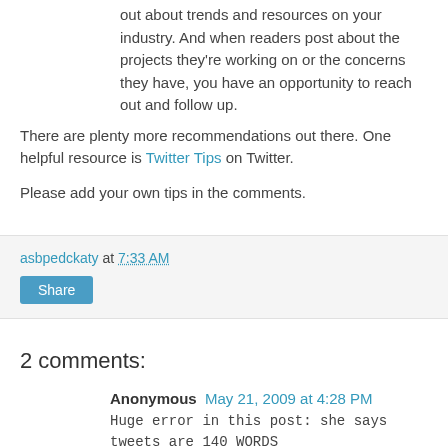out about trends and resources on your industry. And when readers post about the projects they're working on or the concerns they have, you have an opportunity to reach out and follow up.
There are plenty more recommendations out there. One helpful resource is Twitter Tips on Twitter.
Please add your own tips in the comments.
asbpedckaty at 7:33 AM
Share
2 comments:
Anonymous May 21, 2009 at 4:28 PM
Huge error in this post: she says tweets are 140 WORDS (instead of 140 CHARACTERS).